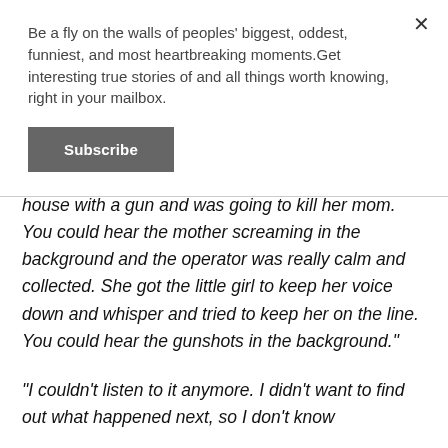Be a fly on the walls of peoples' biggest, oddest, funniest, and most heartbreaking moments.Get interesting true stories of and all things worth knowing, right in your mailbox.
Subscribe
house with a gun and was going to kill her mom. You could hear the mother screaming in the background and the operator was really calm and collected. She got the little girl to keep her voice down and whisper and tried to keep her on the line. You could hear the gunshots in the background."
"I couldn't listen to it anymore. I didn't want to find out what happened next, so I don't know